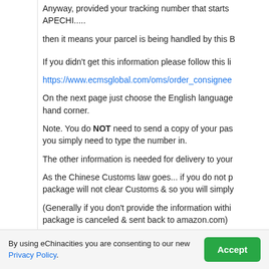Anyway, provided your tracking number that starts APECHI.....
then it means your parcel is being handled by this B
If you didn't get this information please follow this li
https://www.ecmsglobal.com/oms/order_consignee
On the next page just choose the English language hand corner.
Note. You do NOT need to send a copy of your pas you simply need to type the number in.
The other information is needed for delivery to your
As the Chinese Customs law goes... if you do not p package will not clear Customs & so you will simply
(Generally if you don't provide the information withi package is canceled & sent back to amazon.com)
From what i understand... the 'why?' you need this require it, is that this ECMS processes Customs u
By using eChinacities you are consenting to our new Privacy Policy.